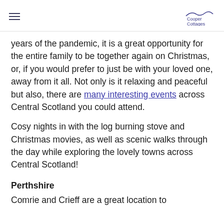Cooper Cottages
years of the pandemic, it is a great opportunity for the entire family to be together again on Christmas, or, if you would prefer to just be with your loved one, away from it all. Not only is it relaxing and peaceful but also, there are many interesting events across Central Scotland you could attend.
Cosy nights in with the log burning stove and Christmas movies, as well as scenic walks through the day while exploring the lovely towns across Central Scotland!
Perthshire
Comrie and Crieff are a great location to